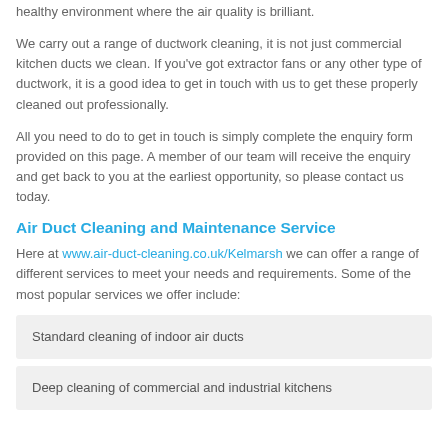healthy environment where the air quality is brilliant.
We carry out a range of ductwork cleaning, it is not just commercial kitchen ducts we clean. If you've got extractor fans or any other type of ductwork, it is a good idea to get in touch with us to get these properly cleaned out professionally.
All you need to do to get in touch is simply complete the enquiry form provided on this page. A member of our team will receive the enquiry and get back to you at the earliest opportunity, so please contact us today.
Air Duct Cleaning and Maintenance Service
Here at www.air-duct-cleaning.co.uk/Kelmarsh we can offer a range of different services to meet your needs and requirements. Some of the most popular services we offer include:
Standard cleaning of indoor air ducts
Deep cleaning of commercial and industrial kitchens